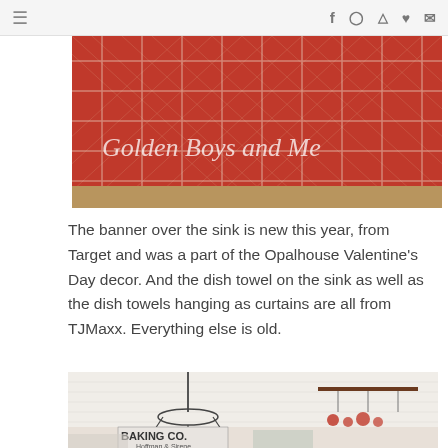☰  f  Pinterest  Instagram  ♥  ✉
[Figure (photo): Close-up photo of a red and white plaid/checkered fabric table runner or dish towel on a wooden surface, with 'Golden Boys and Me' text watermark overlay in white]
The banner over the sink is new this year, from Target and was a part of the Opalhouse Valentine's Day decor. And the dish towel on the sink as well as the dish towels hanging as curtains are all from TJMaxx. Everything else is old.
[Figure (photo): Kitchen interior photo showing white shiplap ceiling, a black chandelier, a 'BAKING CO Hoffman & Sirene' sign, and Valentine's Day decorations with red and white accents, including a pot rack with red items]